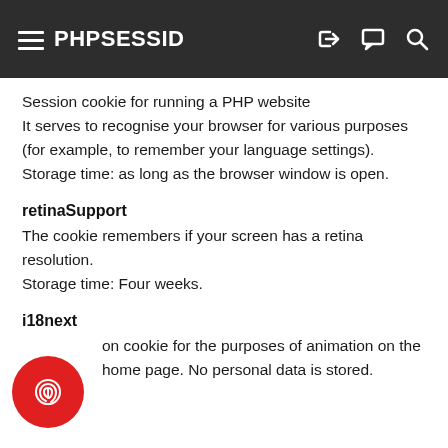PHPSESSID
Session cookie for running a PHP website
It serves to recognise your browser for various purposes (for example, to remember your language settings). Storage time: as long as the browser window is open.
retinaSupport
The cookie remembers if your screen has a retina resolution.
Storage time: Four weeks.
i18next
on cookie for the purposes of animation on the home page. No personal data is stored.